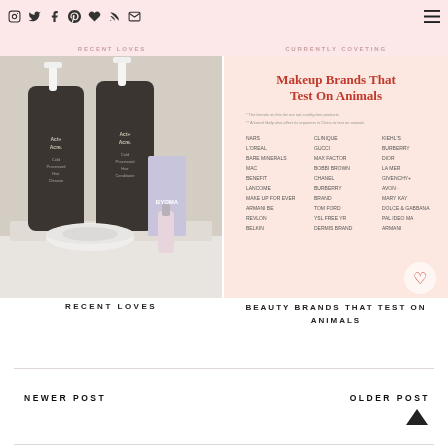Social icons navigation bar with Instagram, Twitter, Facebook, Pinterest, Bloglovin, RSS, Mail icons | RECENT LOVES | CURRENTLY COVETING | hamburger menu
[Figure (photo): Photo of Act+Acre Cold Processed Hair Cleanse and Conditioner bottles with beauty products including BYOMA and nail polish on a marble surface]
RECENT LOVES
[Figure (infographic): Infographic listing Makeup Brands That Test On Animals in pink background with red title and brand names in a three-column grid]
BEAUTY BRANDS THAT TEST ON ANIMALS
NEWER POST
OLDER POST